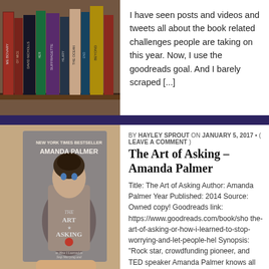[Figure (photo): Photo of a bookshelf with various book spines visible including titles like Suffragette, David Nicholls, and others]
I have seen posts and videos and tweets all about the book related challenges people are taking on this year. Now, I use the goodreads goal. And I barely scraped [...]
[Figure (photo): A hand holding a copy of 'The Art of Asking' by Amanda Palmer, a New York Times Bestseller book]
BY HAYLEY SPROUT ON JANUARY 5, 2017 • ( LEAVE A COMMENT )
The Art of Asking – Amanda Palmer
Title: The Art of Asking Author: Amanda Palmer Year Published: 2014 Source: Owned copy! Goodreads link: https://www.goodreads.com/book/sho the-art-of-asking-or-how-i-learned-to-stop-worrying-and-let-people-hel Synopsis: "Rock star, crowdfunding pioneer, and TED speaker Amanda Palmer knows all about asking. [...]